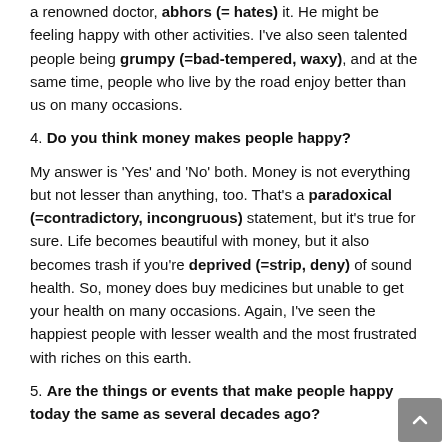a renowned doctor, abhors (= hates) it. He might be feeling happy with other activities. I've also seen talented people being grumpy (=bad-tempered, waxy), and at the same time, people who live by the road enjoy better than us on many occasions.
4. Do you think money makes people happy?
My answer is 'Yes' and 'No' both. Money is not everything but not lesser than anything, too. That's a paradoxical (=contradictory, incongruous) statement, but it's true for sure. Life becomes beautiful with money, but it also becomes trash if you're deprived (=strip, deny) of sound health. So, money does buy medicines but unable to get your health on many occasions. Again, I've seen the happiest people with lesser wealth and the most frustrated with riches on this earth.
5. Are the things or events that make people happy today the same as several decades ago?